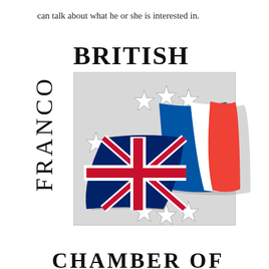can talk about what he or she is interested in.
[Figure (logo): Franco British Chamber of Commerce logo featuring the Union Jack and French tricolour flags intertwined, surrounded by stars on a grey square background, with 'FRANCO' written vertically on the left and 'BRITISH' written horizontally at the top, and 'CHAMBER OF' written at the bottom.]